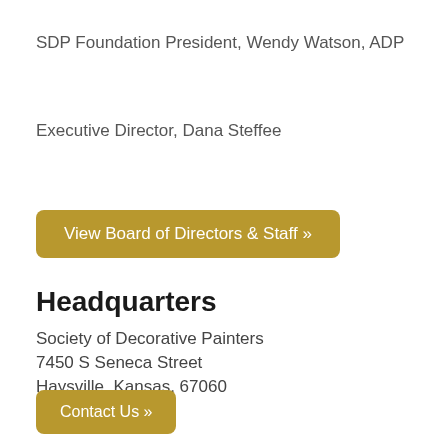SDP Foundation President, Wendy Watson, ADP
Executive Director, Dana Steffee
View Board of Directors & Staff »
Headquarters
Society of Decorative Painters
7450 S Seneca Street
Haysville, Kansas, 67060
Contact Us »